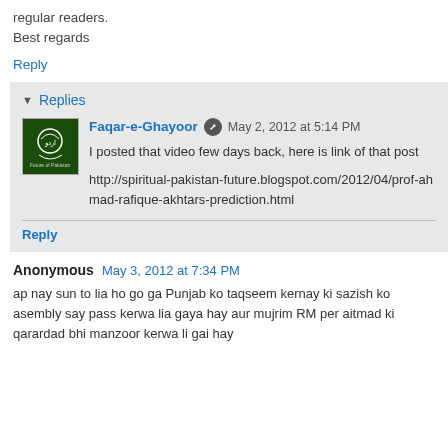regular readers.
Best regards
Reply
Replies
Faqar-e-Ghayoor  May 2, 2012 at 5:14 PM
I posted that video few days back, here is link of that post
http://spiritual-pakistan-future.blogspot.com/2012/04/prof-ahmad-rafique-akhtars-prediction.html
Reply
Anonymous  May 3, 2012 at 7:34 PM
ap nay sun to lia ho go ga Punjab ko taqseem kernay ki sazish ko asembly say pass kerwa lia gaya hay aur mujrim RM per aitmad ki qarardad bhi manzoor kerwa li gai hay